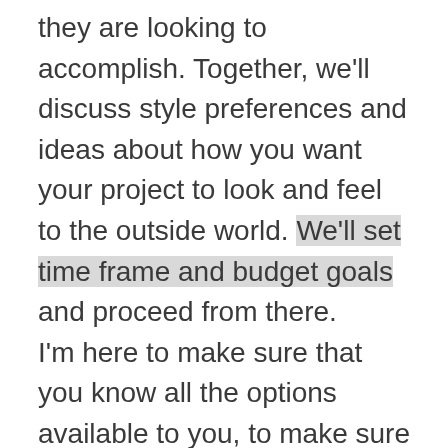they are looking to accomplish. Together, we'll discuss style preferences and ideas about how you want your project to look and feel to the outside world. We'll set time frame and budget goals and proceed from there.

I'm here to make sure that you know all the options available to you, to make sure your product is up to date and beautiful, functional, and